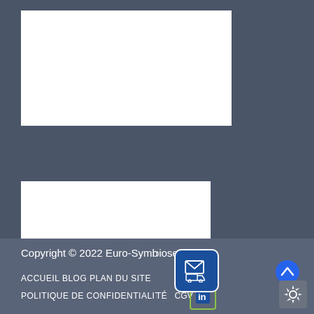[Figure (screenshot): White content box at top of page, appears empty (loading state)]
[Figure (screenshot): White content box with loading spinner icon in center]
[Figure (infographic): Devis Express widget button with envelope/truck icon and blue rounded label reading 'Devis Express']
Copyright © 2022 Euro-Symbiose
ACCUEIL   BLOG   PLAN DU SITE   POLITIQUE DE CONFIDENTIALITÉ   CGV